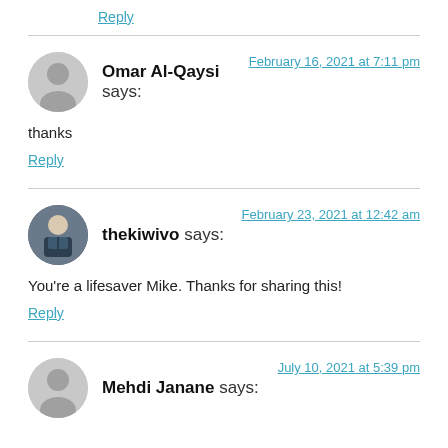Reply
Omar Al-Qaysi says: — February 16, 2021 at 7:11 pm
thanks
Reply
thekiwivo says: — February 23, 2021 at 12:42 am
You're a lifesaver Mike. Thanks for sharing this!
Reply
Mehdi Janane says: — July 10, 2021 at 5:39 pm